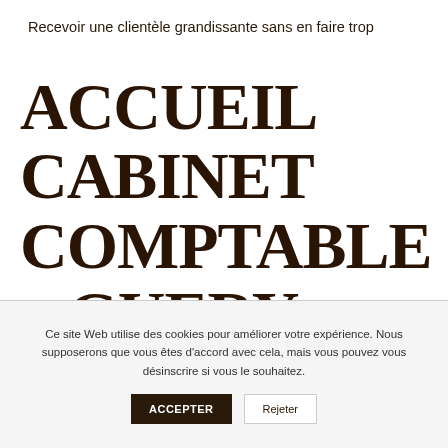Recevoir une clientèle grandissante sans en faire trop
ACCUEIL CABINET COMPTABLE – GUERY BOLLÉ
Ce site Web utilise des cookies pour améliorer votre expérience. Nous supposerons que vous êtes d'accord avec cela, mais vous pouvez vous désinscrire si vous le souhaitez.
ACCEPTER
Rejeter